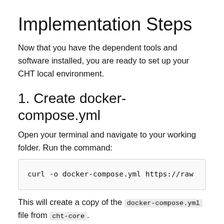Implementation Steps
Now that you have the dependent tools and software installed, you are ready to set up your CHT local environment.
1. Create docker-compose.yml
Open your terminal and navigate to your working folder. Run the command:
curl -o docker-compose.yml https://raw
This will create a copy of the docker-compose.yml file from cht-core.